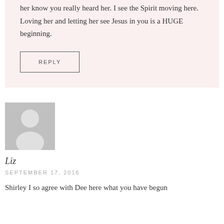her know you really heard her. I see the Spirit moving here. Loving her and letting her see Jesus in you is a HUGE beginning.
REPLY
[Figure (illustration): Generic grey avatar placeholder image showing a silhouette of a person (head and shoulders) on a grey background]
Liz
SEPTEMBER 17, 2016
Shirley I so agree with Dee here what you have begun